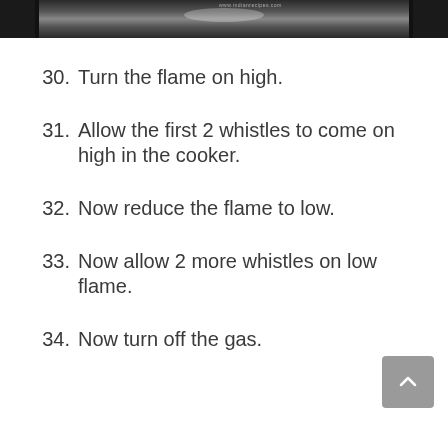[Figure (photo): Top portion of a photo showing a pressure cooker or cooking pot on a stove, dark background]
30. Turn the flame on high.
31. Allow the first 2 whistles to come on high in the cooker.
32. Now reduce the flame to low.
33. Now allow 2 more whistles on low flame.
34. Now turn off the gas.